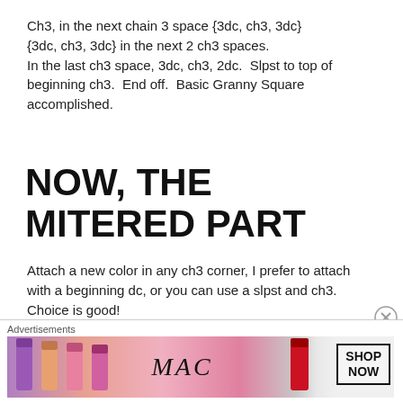Ch3, in the next chain 3 space {3dc, ch3, 3dc} {3dc, ch3, 3dc} in the next 2 ch3 spaces. In the last ch3 space, 3dc, ch3, 2dc.  Slpst to top of beginning ch3.  End off.  Basic Granny Square accomplished.
NOW, THE MITERED PART
Attach a new color in any ch3 corner, I prefer to attach with a beginning dc, or you can use a slpst and ch3. Choice is good!
2dc in same space.
3dc in the space between the 2 groups of 3dc of the
Advertisements
[Figure (photo): MAC cosmetics advertisement showing lipsticks in purple, peach, pink and red colors with MAC logo and SHOP NOW button]